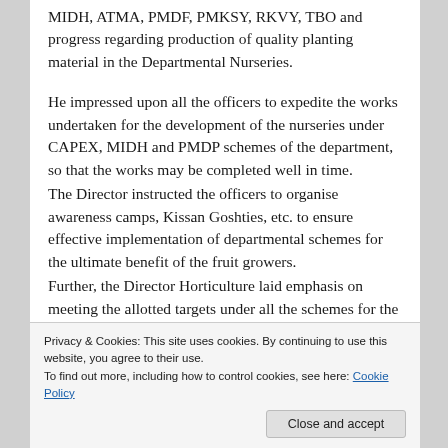MIDH, ATMA, PMDF, PMKSY, RKVY, TBO and progress regarding production of quality planting material in the Departmental Nurseries.
He impressed upon all the officers to expedite the works undertaken for the development of the nurseries under CAPEX, MIDH and PMDP schemes of the department, so that the works may be completed well in time.
The Director instructed the officers to organise awareness camps, Kissan Goshties, etc. to ensure effective implementation of departmental schemes for the ultimate benefit of the fruit growers.
Further, the Director Horticulture laid emphasis on meeting the allotted targets under all the schemes for the year 2021-
targets in full.
Privacy & Cookies: This site uses cookies. By continuing to use this website, you agree to their use.
To find out more, including how to control cookies, see here: Cookie Policy